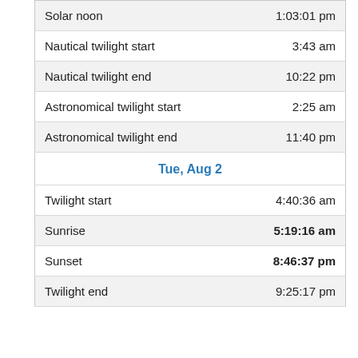| Event | Time |
| --- | --- |
| Solar noon | 1:03:01 pm |
| Nautical twilight start | 3:43 am |
| Nautical twilight end | 10:22 pm |
| Astronomical twilight start | 2:25 am |
| Astronomical twilight end | 11:40 pm |
| Tue, Aug 2 |  |
| Twilight start | 4:40:36 am |
| Sunrise | 5:19:16 am |
| Sunset | 8:46:37 pm |
| Twilight end | 9:25:17 pm |